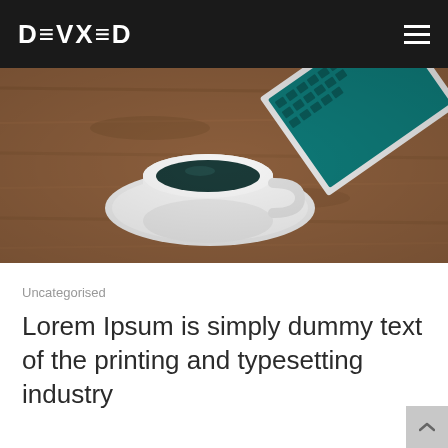DEVXED
[Figure (photo): Overhead view of a wooden desk with a white coffee cup and saucer filled with black coffee, and a laptop with a teal/green keyboard partially visible in the upper right corner.]
Uncategorised
Lorem Ipsum is simply dummy text of the printing and typesetting industry